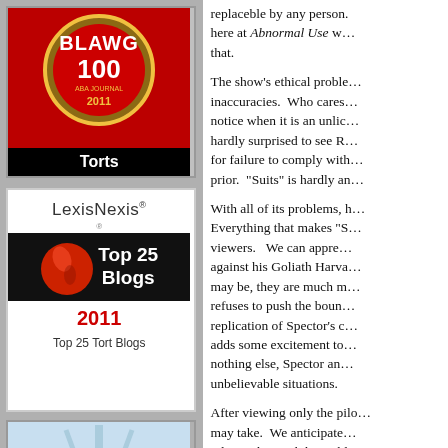[Figure (logo): ABA Journal Blawg 100 2011 badge with Torts label]
[Figure (logo): LexisNexis Top 25 Blogs 2011 - Top 25 Tort Blogs badge]
[Figure (logo): ABA Journal 4th Annual Blawg 100 Honoree badge]
[Figure (logo): ABA Journal Blawg 100 partial badge (cut off at bottom)]
replaceble by any person. Here at Abnormal Use we... that.
The show's ethical problems, inaccuracies. Who cares... notice when it is an unlic... hardly surprised to see R... for failure to comply with... prior. "Suits" is hardly an...
With all of its problems, h... Everything that makes "S... viewers. We can appre... against his Goliath Harva... may be, they are much m... refuses to push the boun... replication of Spector's c... adds some excitement to... nothing else, Spector an... unbelievable situations.
After viewing only the pilo... may take. We anticipate... relationship with his nobl... in weekly shenanigans to...